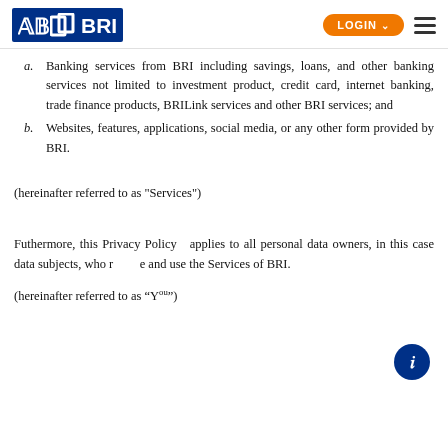BRI | LOGIN
a. Banking services from BRI including savings, loans, and other banking services not limited to investment product, credit card, internet banking, trade finance products, BRILink services and other BRI services; and
b. Websites, features, applications, social media, or any other form provided by BRI.
(hereinafter referred to as "Services")
Futhermore, this Privacy Policy applies to all personal data owners, in this case data subjects, who receive and use the Services of BRI.
(hereinafter referred to as “You”)